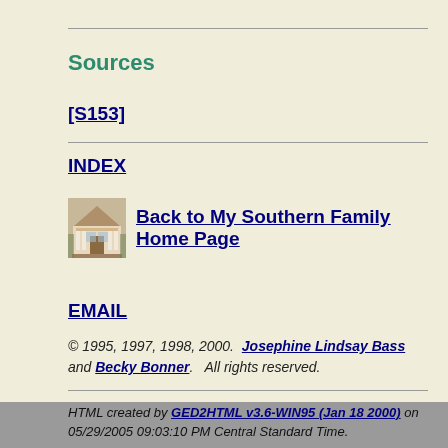Sources
[S153]
INDEX
[Figure (illustration): Small sepia photograph of a Southern antebellum home/plantation house with columns]
Back to My Southern Family Home Page
EMAIL
© 1995, 1997, 1998, 2000.  Josephine Lindsay Bass and Becky Bonner.   All rights reserved.
HTML created by GED2HTML v3.6-WIN95 (Jan 18 2000) on 05/29/2005 09:03:10 PM Central Standard Time.